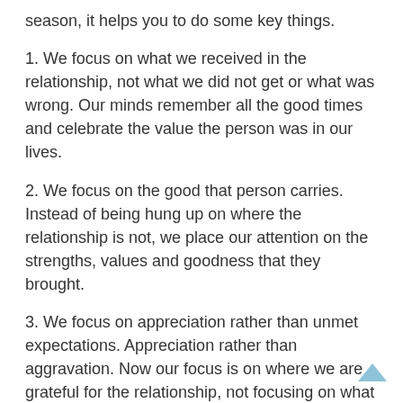season, it helps you to do some key things.
1. We focus on what we received in the relationship, not what we did not get or what was wrong. Our minds remember all the good times and celebrate the value the person was in our lives.
2. We focus on the good that person carries. Instead of being hung up on where the relationship is not, we place our attention on the strengths, values and goodness that they brought.
3. We focus on appreciation rather than unmet expectations. Appreciation rather than aggravation. Now our focus is on where we are grateful for the relationship, not focusing on what we are no longer getting.
4. Therefore, you create an association of them in your heart that is not toxic. Your reference for that person